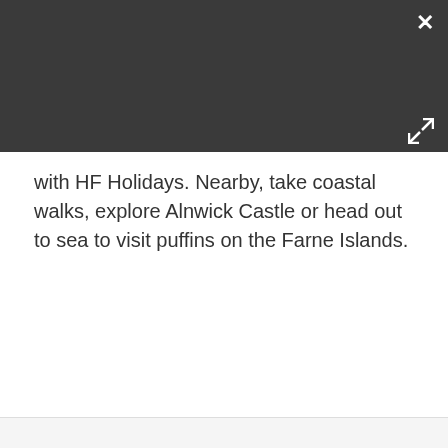[Figure (other): Dark grey panel with a white close (×) button in the top-right corner and a white expand/fullscreen icon in the bottom-right corner of the panel.]
with HF Holidays. Nearby, take coastal walks, explore Alnwick Castle or head out to sea to visit puffins on the Farne Islands.